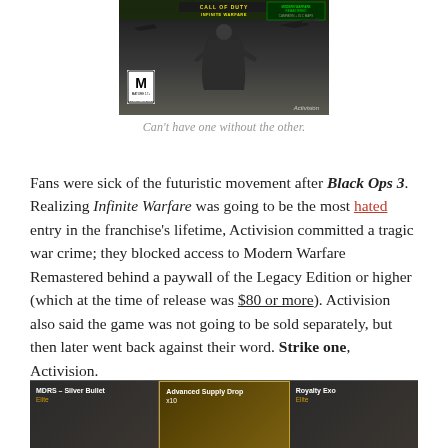[Figure (photo): Call of Duty Infinite Warfare game cover with Modern Warfare Remastered bundled, rated M, published by Activision]
Can't have one without the other.
Fans were sick of the futuristic movement after Black Ops 3. Realizing Infinite Warfare was going to be the most hated entry in the franchise's lifetime, Activision committed a tragic war crime; they blocked access to Modern Warfare Remastered behind a paywall of the Legacy Edition or higher (which at the time of release was $80 or more). Activision also said the game was not going to be sold separately, but then later went back against their word. Strike one, Activision.
[Figure (screenshot): In-game screenshot showing three items: MDRS – Silver Bullet (Elite), Advanced Supply Drop (x10), and Royalty Exo (Elite)]